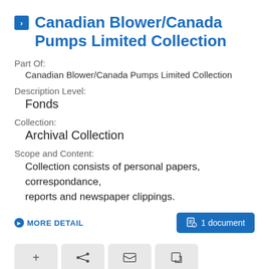Canadian Blower/Canada Pumps Limited Collection
Part Of:
Canadian Blower/Canada Pumps Limited Collection
Description Level:
Fonds
Collection:
Archival Collection
Scope and Content:
Collection consists of personal papers, correspondance, reports and newspaper clippings.
MORE DETAIL
1 document